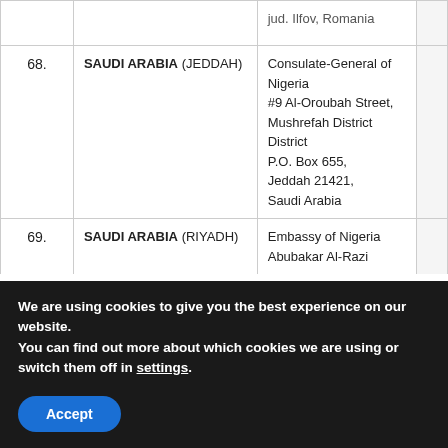| # | Country | Address |  |
| --- | --- | --- | --- |
|  | jud. Ilfov, Romania |  |  |
| 68. | SAUDI ARABIA (JEDDAH) | Consulate-General of Nigeria #9 Al-Oroubah Street, Mushrefah District District P.O. Box 655, Jeddah 21421, Saudi Arabia |  |
| 69. | SAUDI ARABIA (RIYADH) | Embassy of Nigeria Abubakar Al-Razi |  |
We are using cookies to give you the best experience on our website.
You can find out more about which cookies we are using or switch them off in settings.
Accept